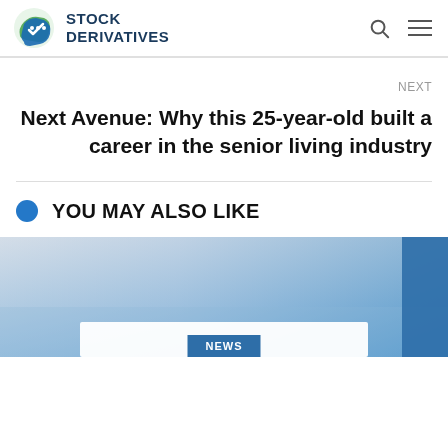STOCK DERIVATIVES
NEXT
Next Avenue: Why this 25-year-old built a career in the senior living industry
YOU MAY ALSO LIKE
[Figure (photo): A card image with a blue sky gradient background showing a NEWS badge at the bottom center]